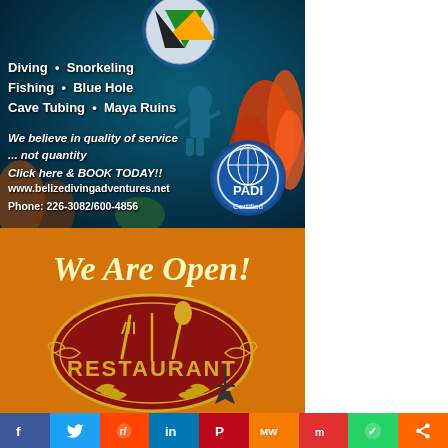[Figure (illustration): Belize diving adventures advertisement with underwater coral reef background showing a scuba diver, featuring the Belize logo, PADI Certified badge, activity listings (Diving, Snorkeling, Fishing, Blue Hole, Cave Tubing, Maya Ruins), tagline, website and phone number.]
[Figure (illustration): Restaurant advertisement with orange background showing a red oval emblem with crossed knife and spoon, ornamental laurel wreath and decorative elements, text 'We Are Open!' and 'RESTAURANT'.]
[Figure (illustration): Social media sharing bar with buttons for Facebook, Twitter, Reddit, LinkedIn, Pinterest, MeWe, Mix, WhatsApp, and Share.]